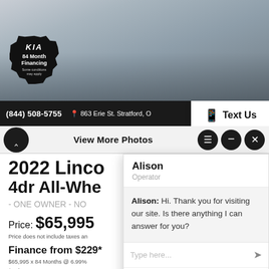[Figure (photo): Gray Lincoln SUV on a dealership lot, with a black Kia 84 Month Financing badge overlay in the lower-left corner]
(844) 508-5755   863 Erie St. Stratford, O
Text Us
View More Photos
2022 Linco
4dr All-Whe
- ONE OWNER - NO
Price: $65,995
Price does not include taxes an
Finance from $229*
$65,995 x 84 Months @ 6.99%
$0 down payment.
Plus HST and License.
Alison
Operator
Alison: Hi. Thank you for visiting our site. Is there anything I can answer for you?
Type here...
Powered By: LiveAdmins